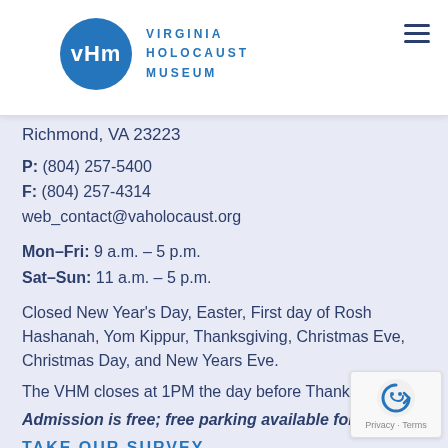[Figure (logo): Virginia Holocaust Museum logo with blue circle containing VHM initials and text 'VIRGINIA HOLOCAUST MUSEUM' in blue letters]
Richmond, VA 23223
P: (804) 257-5400
F: (804) 257-4314
web_contact@vaholocaust.org
Mon–Fri: 9 a.m. – 5 p.m.
Sat–Sun: 11 a.m. – 5 p.m.
Closed New Year's Day, Easter, First day of Rosh Hashanah, Yom Kippur, Thanksgiving, Christmas Eve, Christmas Day, and New Years Eve.
The VHM closes at 1PM the day before Thanksgiving.
Admission is free; free parking available for visitors
TAKE OUR SURVEY